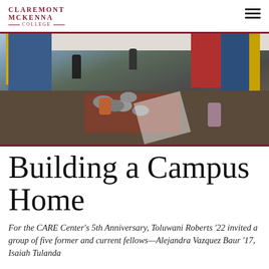Claremont McKenna College
[Figure (photo): Overhead/wide-angle view of a lounge room with students sitting on chairs at tables along the walls and on beanbag chairs on the floor. The walls are decorated with blue, red, and yellow panels. A rug with a decorative pattern is visible on the floor.]
Building a Campus Home
For the CARE Center's 5th Anniversary, Toluwani Roberts '22 invited a group of five former and current fellows—Alejandra Vazquez Baur '17, Isaiah Tulanda